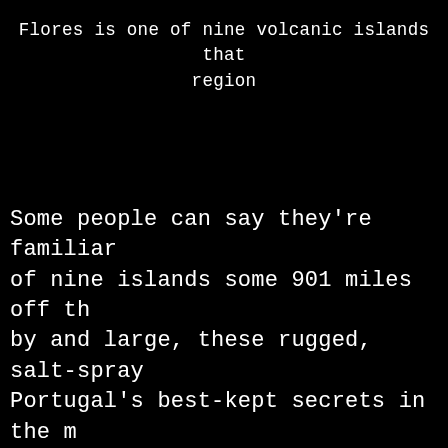Flores is one of nine volcanic islands that
region
Some people can say they're familiar of nine islands some 901 miles off th by and large, these rugged, salt-spray Portugal's best-kept secrets in the m Ocean."
Picture emerald beaches, dazzling blu pastures, volcanic caverns, bubbling r sunrises and cascading waterfalls. UN Azores a Biosphere Reserve in 2009 f preservation. Indeed, the islands make